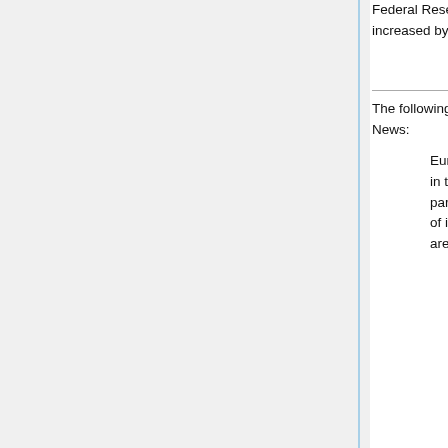Federal Reserve Board, the money supply in the United States has increased by 271 percent. It has almost tripled."
by Dick Morris in "The Hill"
3 March 2009
The following two Forsooths are from the April 2009 issue of the RSS News:
Europe's particle physics lab, CERN is losing ground rapidly in the race to discover the elusive Higgs boson, or 'God particle', its US rival claims ... the US Fermilab says the odds of its Tefatron accelerator detecting the famed particle first are now 50-50 at worst